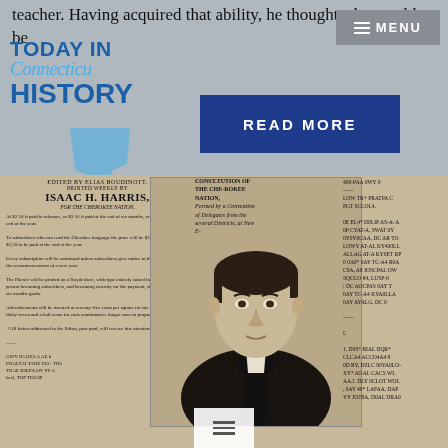teacher. Having acquired that ability, he thought, she would be
[Figure (logo): Today in Connecticut History logo with blue text and state shape]
MENU
READ MORE
[Figure (photo): Historical newspaper front page of Cherokee Phoenix edited by Elias Boudinott, printed by Isaac H. Harris, with portrait photo of a man in 19th century attire overlaid on newspaper]